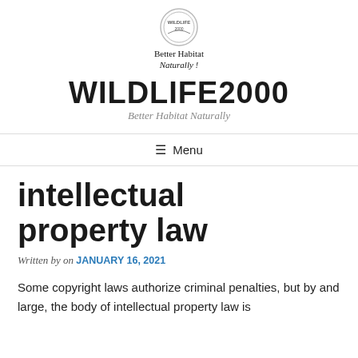[Figure (logo): Wildlife2000 logo circle at top of page]
Better Habitat
Naturally !
WILDLIFE2000
Better Habitat Naturally
≡ Menu
intellectual property law
Written by on JANUARY 16, 2021
Some copyright laws authorize criminal penalties, but by and large, the body of intellectual property law is